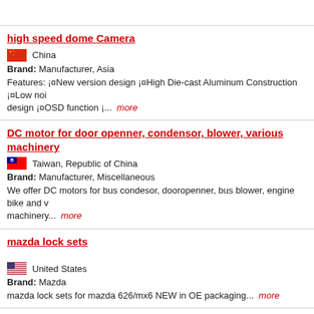high speed dome Camera
China
Brand: Manufacturer, Asia
Features: ¡¤New version design ¡¤High Die-cast Aluminum Construction ¡¤Low noise design ¡¤OSD function ¡... more
DC motor for door openner, condensor, blower, various machinery
Taiwan, Republic of China
Brand: Manufacturer, Miscellaneous
We offer DC motors for bus condesor, dooropenner, bus blower, engine bike and various machinery... more
mazda lock sets
United States
Brand: Mazda
mazda lock sets for mazda 626/mx6 NEW in OE packaging... more
Complete Cruise Control Kits for Ford Vehicles
United States
Brand: Ford